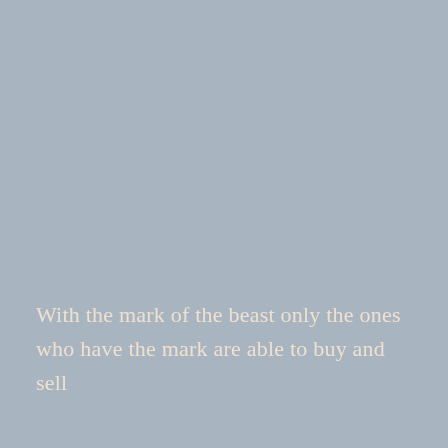With the mark of the beast only the ones who have the mark are able to buy and sell